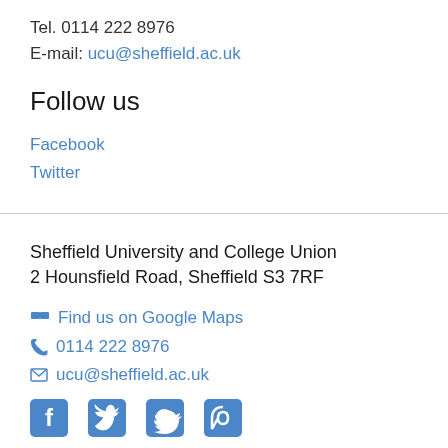Tel. 0114 222 8976
E-mail: ucu@sheffield.ac.uk
Follow us
Facebook
Twitter
Sheffield University and College Union
2 Hounsfield Road, Sheffield S3 7RF
Find us on Google Maps
0114 222 8976
ucu@sheffield.ac.uk